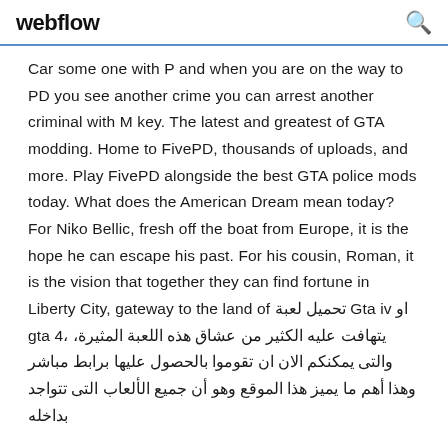webflow
Car some one with P and when you are on the way to PD you see another crime you can arrest another criminal with M key. The latest and greatest of GTA modding. Home to FivePD, thousands of uploads, and more. Play FivePD alongside the best GTA police mods today. What does the American Dream mean today? For Niko Bellic, fresh off the boat from Europe, it is the hope he can escape his past. For his cousin, Roman, it is the vision that together they can find fortune in Liberty City, gateway to the land of تحميل لعبة Gta iv او gta 4، يتهافت عليه الكثير من عشاق هذه اللعبة المثيرة، والتى يمكنكم الان ان تقوموا بالحصول عليها برابط مباشر وهذا أهم ما يميز هذا الموقع وهو أن جميع الألعاب التى تتواجد بداخله